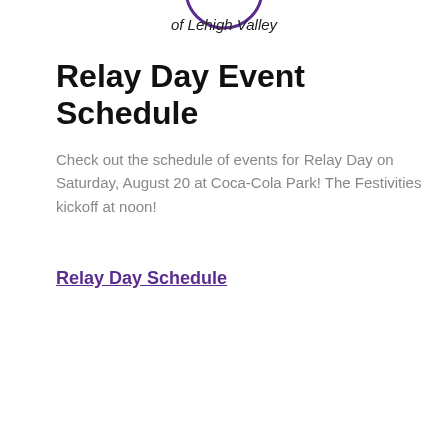[Figure (logo): Partial logo showing 'of Lehigh Valley' text in italic with a circular purple logo mark partially visible at top]
Relay Day Event Schedule
Check out the schedule of events for Relay Day on Saturday, August 20 at Coca-Cola Park! The Festivities kickoff at noon!
Relay Day Schedule